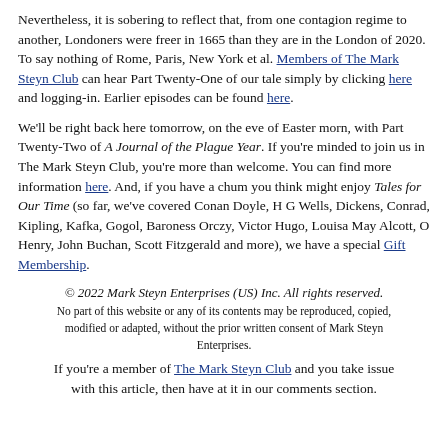Nevertheless, it is sobering to reflect that, from one contagion regime to another, Londoners were freer in 1665 than they are in the London of 2020. To say nothing of Rome, Paris, New York et al. Members of The Mark Steyn Club can hear Part Twenty-One of our tale simply by clicking here and logging-in. Earlier episodes can be found here.
We'll be right back here tomorrow, on the eve of Easter morn, with Part Twenty-Two of A Journal of the Plague Year. If you're minded to join us in The Mark Steyn Club, you're more than welcome. You can find more information here. And, if you have a chum you think might enjoy Tales for Our Time (so far, we've covered Conan Doyle, H G Wells, Dickens, Conrad, Kipling, Kafka, Gogol, Baroness Orczy, Victor Hugo, Louisa May Alcott, O Henry, John Buchan, Scott Fitzgerald and more), we have a special Gift Membership.
© 2022 Mark Steyn Enterprises (US) Inc. All rights reserved. No part of this website or any of its contents may be reproduced, copied, modified or adapted, without the prior written consent of Mark Steyn Enterprises.
If you're a member of The Mark Steyn Club and you take issue with this article, then have at it in our comments section.